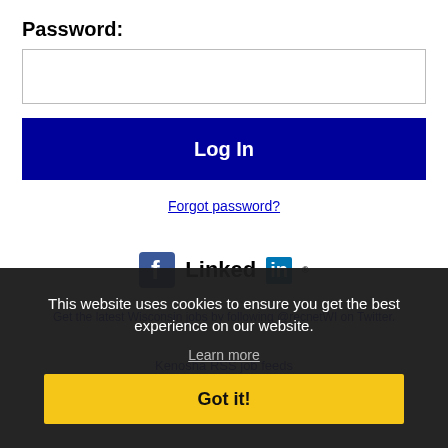Password:
[Figure (screenshot): Password input field (empty text box)]
Log In
Forgot password?
[Figure (logo): Facebook icon and LinkedIn logo]
Get the latest Wisconsin jobs by following @recnetWI on Twitter.
Kenosha RSS job feeds
This website uses cookies to ensure you get the best experience on our website.
Learn more
Got it!